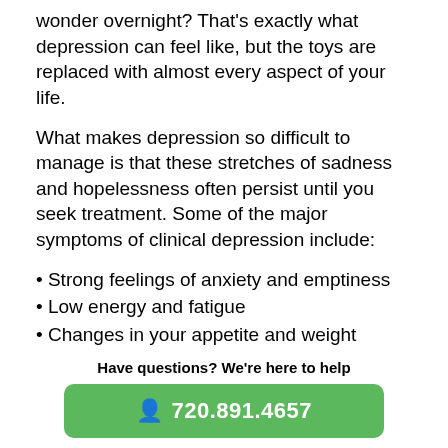wonder overnight? That’s exactly what depression can feel like, but the toys are replaced with almost every aspect of your life.
What makes depression so difficult to manage is that these stretches of sadness and hopelessness often persist until you seek treatment. Some of the major symptoms of clinical depression include:
Strong feelings of anxiety and emptiness
Low energy and fatigue
Changes in your appetite and weight unrelated to your diet
Chronic headaches, aches and pains
Have questions? We’re here to help
720.891.4657